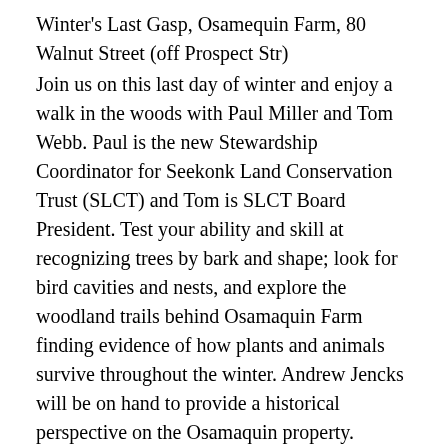Winter's Last Gasp, Osamequin Farm, 80 Walnut Street (off Prospect Str)
Join us on this last day of winter and enjoy a walk in the woods with Paul Miller and Tom Webb. Paul is the new Stewardship Coordinator for Seekonk Land Conservation Trust (SLCT) and Tom is SLCT Board President. Test your ability and skill at recognizing trees by bark and shape; look for bird cavities and nests, and explore the woodland trails behind Osamaquin Farm finding evidence of how plants and animals survive throughout the winter. Andrew Jencks will be on hand to provide a historical perspective on the Osamaquin property.
Family friendly, easy trail less than 2 miles of walking. Wear boots for mud/snow, use tick repellent, and bring your camera and binoculars!
Meeting point and parking: Meet by the large barn behind the homestead, park on the right side of Walnut Street
As background to provide some context, Osamaquin Farm's